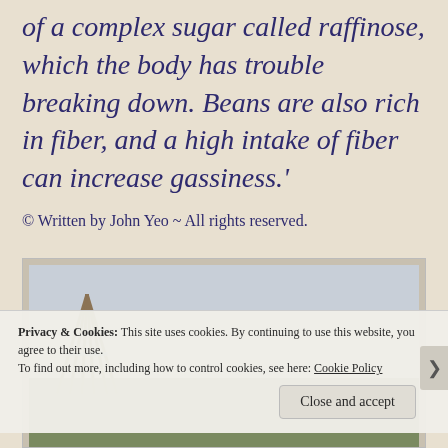of a complex sugar called raffinose, which the body has trouble breaking down. Beans are also rich in fiber, and a high intake of fiber can increase gassiness.'
© Written by John Yeo ~ All rights reserved.
[Figure (photo): Outdoor garden/farm photo showing bundled bamboo sticks arranged as a teepee structure on the left, a brick building in the center background, and a lush green plant on the right, with an overcast sky.]
Privacy & Cookies: This site uses cookies. By continuing to use this website, you agree to their use. To find out more, including how to control cookies, see here: Cookie Policy
Close and accept